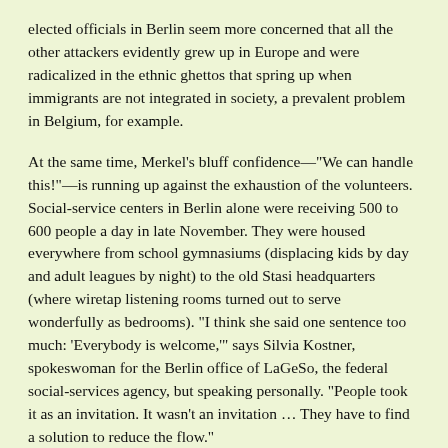elected officials in Berlin seem more concerned that all the other attackers evidently grew up in Europe and were radicalized in the ethnic ghettos that spring up when immigrants are not integrated in society, a prevalent problem in Belgium, for example.
At the same time, Merkel's bluff confidence—“We can handle this!”—is running up against the exhaustion of the volunteers. Social-service centers in Berlin alone were receiving 500 to 600 people a day in late November. They were housed everywhere from school gymnasiums (displacing kids by day and adult leagues by night) to the old Stasi headquarters (where wiretap listening rooms turned out to serve wonderfully as bedrooms). “I think she said one sentence too much: ‘Everybody is welcome,’” says Silvia Kostner, spokeswoman for the Berlin office of LaGeSo, the federal social-services agency, but speaking personally. “People took it as an invitation. It wasn’t an invitation … They have to find a solution to reduce the flow.”
Merkel is working on that, negotiating with Turkish President Recep Tayyip Erdogan to shut off the faucet. Armed with €3